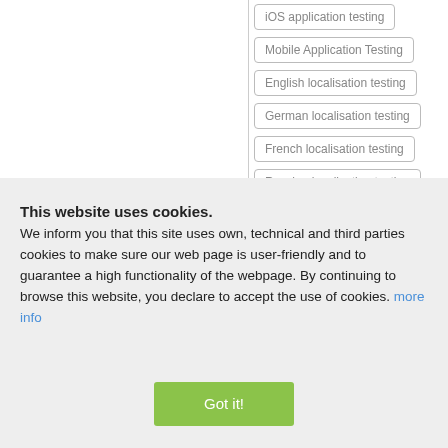iOS application testing
Mobile Application Testing
English localisation testing
German localisation testing
French localisation testing
Russian localisation testing
Ukrainian localisation testing
This website uses cookies. We inform you that this site uses own, technical and third parties cookies to make sure our web page is user-friendly and to guarantee a high functionality of the webpage. By continuing to browse this website, you declare to accept the use of cookies. more info
Got it!